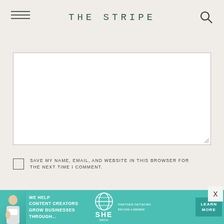THE STRIPE
[Figure (screenshot): Comment text area input box (empty white textarea with resize handle)]
SAVE MY NAME, EMAIL, AND WEBSITE IN THIS BROWSER FOR THE NEXT TIME I COMMENT.
SUBMIT COMMENT
[Figure (infographic): SHE Media Partner Network advertisement banner: 'WE HELP CONTENT CREATORS GROW BUSINESSES THROUGH...' with LEARN MORE button]